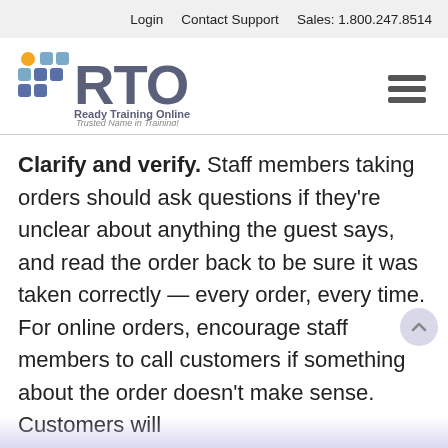Login   Contact Support   Sales: 1.800.247.8514
[Figure (logo): Ready Training Online (RTO) logo with colorful dot grid and tagline 'Trusted Name in Training!']
Clarify and verify. Staff members taking orders should ask questions if they're unclear about anything the guest says, and read the order back to be sure it was taken correctly — every order, every time. For online orders, encourage staff members to call customers if something about the order doesn't make sense. Customers will